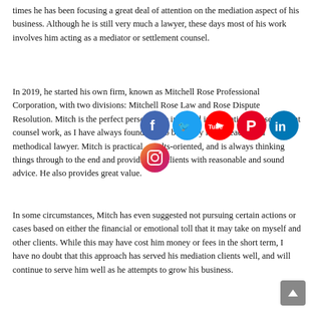times he has been focusing a great deal of attention on the mediation aspect of his business. Although he is still very much a lawyer, these days most of his work involves him acting as a mediator or settlement counsel.
In 2019, he started his own firm, known as Mitchell Rose Professional Corporation, with two divisions: Mitchell Rose Law and Rose Dispute Resolution. Mitch is the perfect person to be involved in mediation and settlement counsel work, as I have always found him to be a very level-headed and methodical lawyer. Mitch is practical, results-oriented, and is always thinking things through to the end and providing his clients with reasonable and sound advice. He also provides great value.
[Figure (infographic): Social media icons: Facebook (blue circle), Twitter (light blue circle), YouTube (red circle), Pinterest (red circle), LinkedIn (blue circle), Instagram (gradient circle)]
In some circumstances, Mitch has even suggested not pursuing certain actions or cases based on either the financial or emotional toll that it may take on myself and other clients. While this may have cost him money or fees in the short term, I have no doubt that this approach has served his mediation clients well, and will continue to serve him well as he attempts to grow his business.